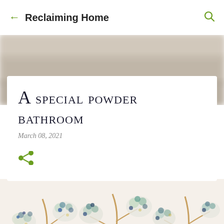Reclaiming Home
[Figure (photo): Blurred background banner image, beige/taupe tones]
A special powder bathroom
March 08, 2021
[Figure (illustration): Botanical watercolor wallpaper illustration with trees and flowering foliage in blue, green, and gold tones on cream background]